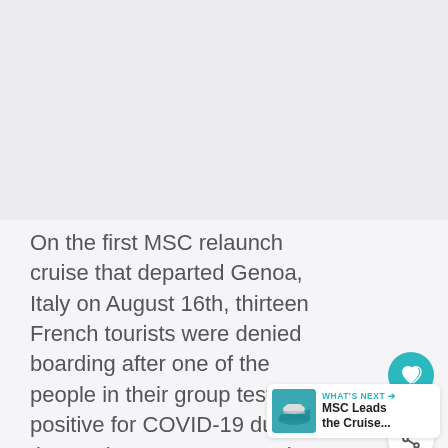[Figure (photo): Image placeholder area at the top of the page, light gray background]
On the first MSC relaunch cruise that departed Genoa, Italy on August 16th, thirteen French tourists were denied boarding after one of the people in their group tested positive for COVID-19 during the swab tests.  Because the group had traveled together on the bus all were denied boarding.